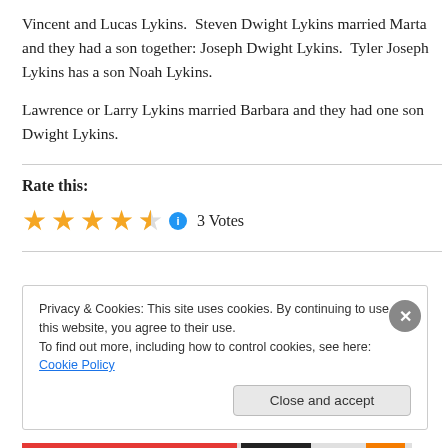Vincent and Lucas Lykins.  Steven Dwight Lykins married Marta and they had a son together: Joseph Dwight Lykins.  Tyler Joseph Lykins has a son Noah Lykins.
Lawrence or Larry Lykins married Barbara and they had one son Dwight Lykins.
Rate this:
[Figure (other): 4.5 star rating with info icon and '3 Votes' label]
Privacy & Cookies: This site uses cookies. By continuing to use this website, you agree to their use. To find out more, including how to control cookies, see here: Cookie Policy